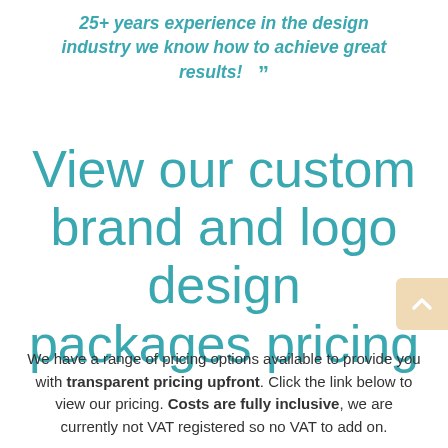25+ years experience in the design industry we know how to achieve great results! ””
View our custom brand and logo design packages pricing
We have a range of pricing options available to provide you with transparent pricing upfront. Click the link below to view our pricing. Costs are fully inclusive, we are currently not VAT registered so no VAT to add on.